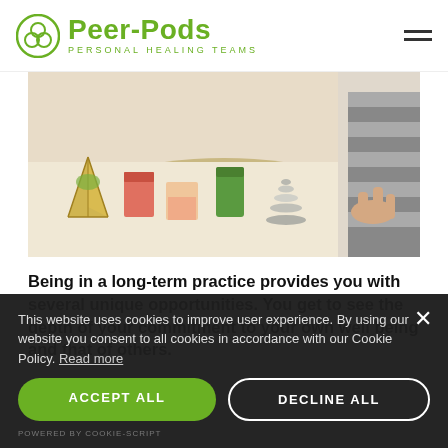Peer-Pods PERSONAL HEALING TEAMS
[Figure (photo): Wellness/spa items on a round wooden board including candles, stones stacked, pink salt in glass container, green drink, gold geometric terrarium, person's hands in background with striped sleeve]
Being in a long-term practice provides you with several unique opportunities.  You get to see the depth of your commitment to your own well being and that of others.
This website uses cookies to improve user experience. By using our website you consent to all cookies in accordance with our Cookie Policy. Read more
ACCEPT ALL
DECLINE ALL
POWERED BY COOKIE-SCRIPT